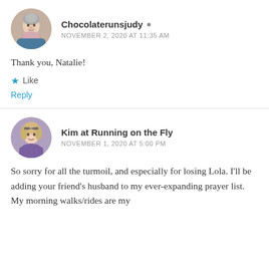[Figure (photo): Circular avatar photo of Chocolaterunsjudy, older woman with gray hair and scarf]
Chocolaterunsjudy
NOVEMBER 2, 2020 AT 11:35 AM
Thank you, Natalie!
Like
Reply
[Figure (photo): Circular avatar photo of Kim at Running on the Fly, young woman with colorful outfit]
Kim at Running on the Fly
NOVEMBER 1, 2020 AT 5:00 PM
So sorry for all the turmoil, and especially for losing Lola. I'll be adding your friend's husband to my ever-expanding prayer list. My morning walks/rides are my